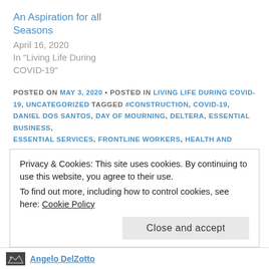An Aspiration for all Seasons
April 16, 2020
In "Living Life During COVID-19"
POSTED ON MAY 3, 2020 • POSTED IN LIVING LIFE DURING COVID-19, UNCATEGORIZED TAGGED #CONSTRUCTION, COVID-19, DANIEL DOS SANTOS, DAY OF MOURNING, DELTERA, ESSENTIAL BUSINESS, ESSENTIAL SERVICES, FRONTLINE WORKERS, HEALTH AND SAFETY, HEALTH CARE, NEW YORK TIMES, PETER MENEGUZZI, SAFETY, TRIDEL, WSIB
Privacy & Cookies: This site uses cookies. By continuing to use this website, you agree to their use.
To find out more, including how to control cookies, see here: Cookie Policy
Close and accept
Angelo DelZotto